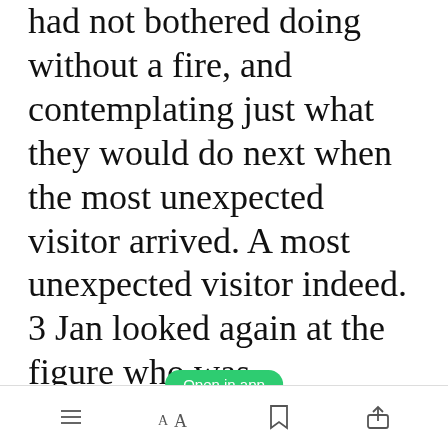had not bothered doing without a fire, and contemplating just what they would do next when the most unexpected visitor arrived. A most unexpected visitor indeed. 3 Jan looked again at the figure who was approaching, telling himself beyond reason that it couldn't be, but as the figure, still puffing, at the sounds of the drums and the tribesmen having just given up chase, came into closer view he indeed knew who he at first
[Figure (screenshot): Green 'Open in app' button overlay on text]
[Figure (screenshot): App toolbar with list, font, bookmark, and share icons]